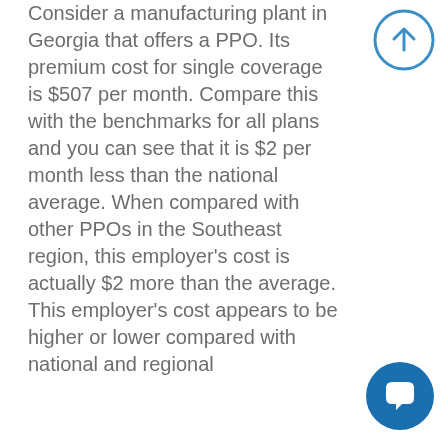Consider a manufacturing plant in Georgia that offers a PPO. Its premium cost for single coverage is $507 per month. Compare this with the benchmarks for all plans and you can see that it is $2 per month less than the national average. When compared with other PPOs in the Southeast region, this employer's cost is actually $2 more than the average. This employer's cost appears to be higher or lower compared with national and regional
[Figure (other): Circular button with upward arrow icon (blue outline circle with up arrow)]
[Figure (other): Circular chat button (solid blue circle with speech bubble icon)]